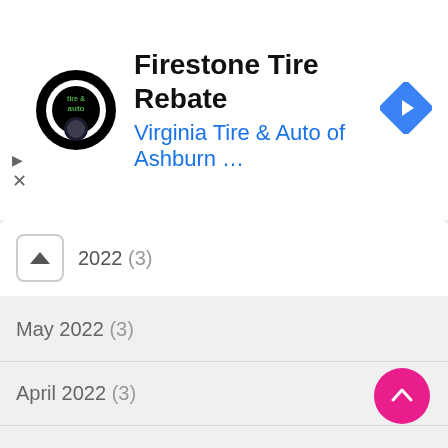[Figure (screenshot): Advertisement banner for Firestone Tire Rebate from Virginia Tire & Auto of Ashburn with logo and navigation icon]
2022 (3)
May 2022 (3)
April 2022 (3)
March 2022 (2)
February 2022 (6)
January 2022 (4)
December 2021 (1)
November 2021 (7)
October 2021 (3)